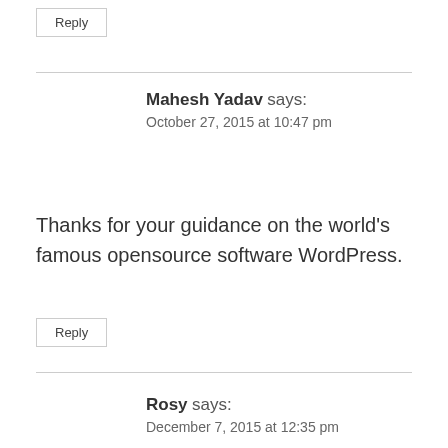Reply
Mahesh Yadav says:
October 27, 2015 at 10:47 pm
Thanks for your guidance on the world’s famous opensource software WordPress.
Reply
Rosy says:
December 7, 2015 at 12:35 pm